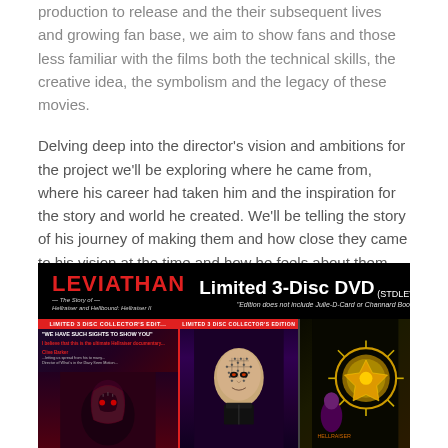production to release and the their subsequent lives and growing fan base, we aim to show fans and those less familiar with the films both the technical skills, the creative idea, the symbolism and the legacy of these movies.
Delving deep into the director's vision and ambitions for the project we'll be exploring where he came from, where his career had taken him and the inspiration for the story and world he created. We'll be telling the story of his journey of making them and how close they came to his vision at the time and how he feels about them over 25 years later.
[Figure (photo): Advertisement image for LEVIATHAN - The Story of Hellraiser and Hellbound: Hellraiser II Limited 3-Disc DVD (STDLEV1). Black background with red LEVIATHAN logo on left, white text 'Limited 3-Disc DVD (STDLEV1)' on upper right. Note: Edition does not include Julie-D-Card or Channard Booklet. Below shows DVD cover art with dark horror imagery including Pinhead character.]